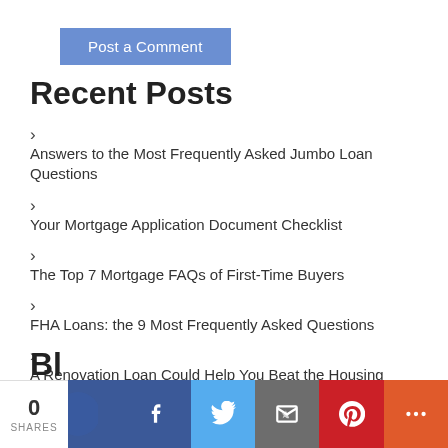Post a Comment
Recent Posts
Answers to the Most Frequently Asked Jumbo Loan Questions
Your Mortgage Application Document Checklist
The Top 7 Mortgage FAQs of First-Time Buyers
FHA Loans: the 9 Most Frequently Asked Questions
A Renovation Loan Could Help You Beat the Housing Market
Bl... T...
0 SHARES